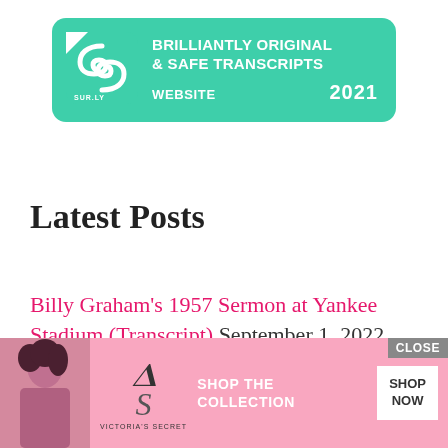[Figure (logo): Sur.ly badge: green rounded rectangle with spiral S logo on the left and text 'BRILLIANTLY ORIGINAL & SAFE TRANSCRIPTS WEBSITE 2021' on the right]
Latest Posts
Billy Graham's 1957 Sermon at Yankee Stadium (Transcript) September 1, 2022 7:33 am
Transcript... ILK (Mar... m
[Figure (screenshot): Victoria's Secret advertisement banner with close button, model photo, VS logo, 'SHOP THE COLLECTION' text and 'SHOP NOW' button]